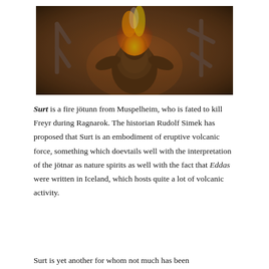[Figure (photo): A fantasy/mythological illustration of a large armored figure with fire on its head, standing against a dark runic background with orange and red fiery tones.]
Surt is a fire jötunn from Muspelheim, who is fated to kill Freyr during Ragnarok. The historian Rudolf Simek has proposed that Surt is an embodiment of eruptive volcanic force, something which doevtails well with the interpretation of the jötnar as nature spirits as well with the fact that Eddas were written in Iceland, which hosts quite a lot of volcanic activity.
Surt is yet another for whom not much has been